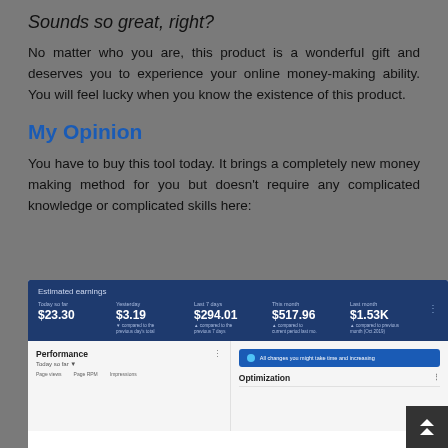Sounds so great, right?
No matter who you are, this product is a wonderful gift and deserves you to experience your online money-making ability. You will feel lucky when you know the existence of this product.
My Opinion
You have to buy this tool today. It brings a completely new money making method for you but doesn't require any complicated knowledge or complicated skills here:
[Figure (screenshot): Screenshot of an earnings dashboard showing Estimated earnings with values: $23.30 (Today so far), $3.19 (Yesterday), $294.01 (Last 7 days), $517.96 (This month), $1.53K (Last month). Below shows Performance and Optimization sections.]